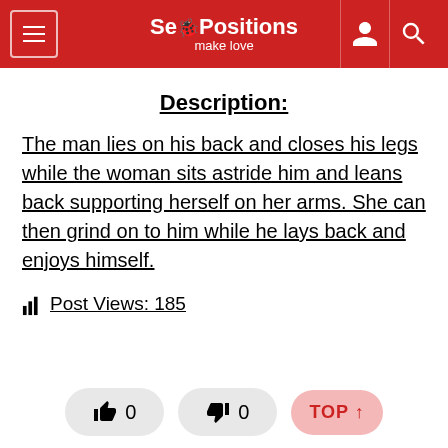Sex Positions — make love
Description:
The man lies on his back and closes his legs while the woman sits astride him and leans back supporting herself on her arms. She can then grind on to him while he lays back and enjoys himself.
Post Views: 185
👍 0   👎 0   TOP ↑